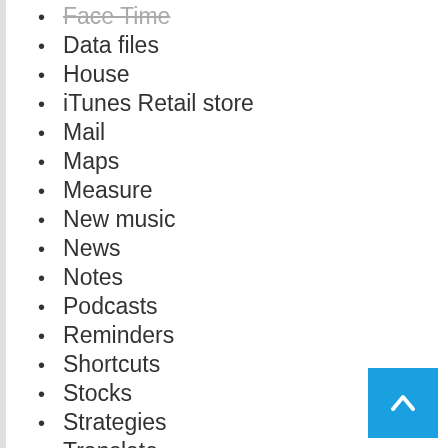Face Time
Data files
House
iTunes Retail store
Mail
Maps
Measure
New music
News
Notes
Podcasts
Reminders
Shortcuts
Stocks
Strategies
Translate
Television set